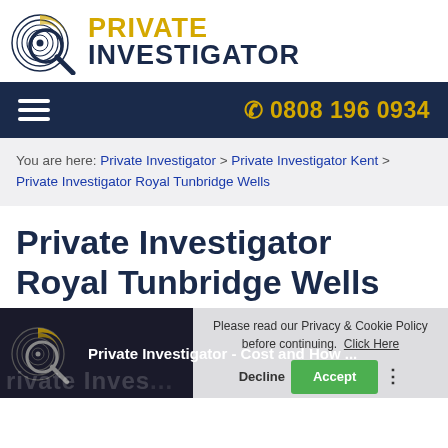[Figure (logo): Private Investigator logo with magnifying glass over fingerprint icon, and text 'PRIVATE INVESTIGATOR' in gold and dark navy]
☎ 0808 196 0934
You are here: Private Investigator > Private Investigator Kent > Private Investigator Royal Tunbridge Wells
Private Investigator Royal Tunbridge Wells
[Figure (screenshot): Video thumbnail showing Private Investigator logo and text 'Private Investigator - Cost and How ...' with watermark 'rivate Inves...']
Please read our Privacy & Cookie Policy before continuing. Click Here
Decline   Accept